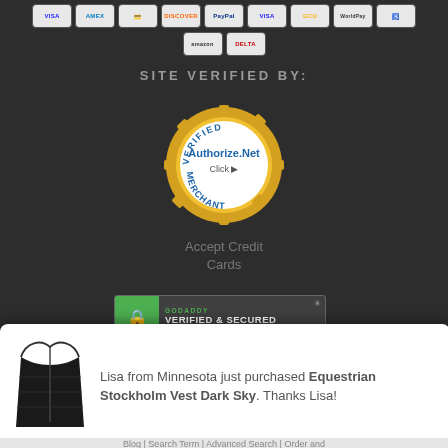[Figure (infographic): Payment method icons row: VISA, AMEX, credit card, Discover, PayPal, VISA, GCU, WorldPay, accessibility icon, Amazon, Delta]
SITE VERIFIED BY:
[Figure (logo): Authorize.Net Verified Merchant seal - circular gold badge with VERIFIED MERCHANT text and Authorize.Net Click branding]
Accept Credit Cards
[Figure (logo): GoDaddy Verified & Secured badge with green lock icon and VERIFY SECURITY text]
Protected By
[Figure (logo): SIGNIFYD logo with orange squares grid icon]
Lisa from Minnesota just purchased Equestrian Stockholm Vest Dark Sky. Thanks Lisa!
Blog | Search Term | Advanced Search | Order and